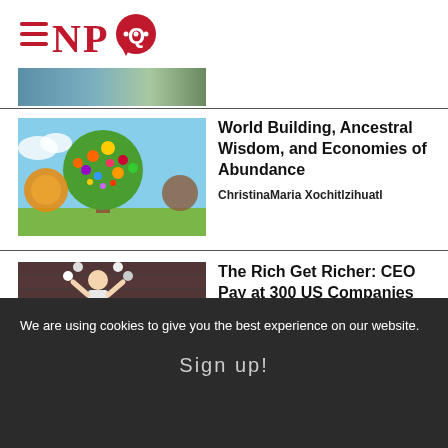NPQ logo
[Figure (photo): Partial landscape image strip cut off at top]
[Figure (illustration): Colorful mosaic-style tree with vibrant fruits and foliage]
World Building, Ancestral Wisdom, and Economies of Abundance
ChristinaMaria Xochitlzihuatl
[Figure (photo): Street mural featuring a person juggling, urban brick background]
The Rich Get Richer: CEO Pay at 300 US Companies Climbs 31 Percent in 2021
We are using cookies to give you the best experience on our website.
Sign up!